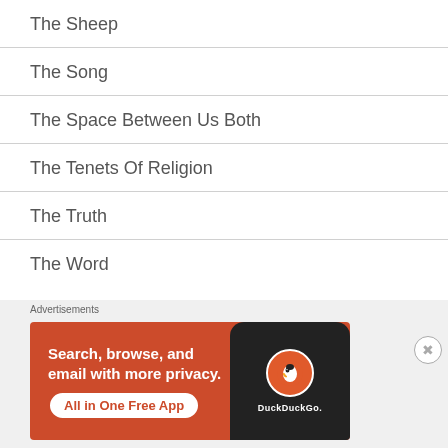The Sheep
The Song
The Space Between Us Both
The Tenets Of Religion
The Truth
The Word
[Figure (other): DuckDuckGo advertisement banner: 'Search, browse, and email with more privacy. All in One Free App' with DuckDuckGo logo on a smartphone, orange background.]